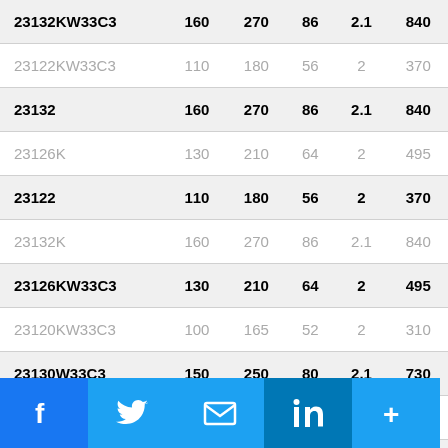| 23132KW33C3 | 160 | 270 | 86 | 2.1 | 840 |
| 23122KW33C3 | 110 | 180 | 56 | 2 | 370 |
| 23132 | 160 | 270 | 86 | 2.1 | 840 |
| 23126K | 130 | 210 | 64 | 2 | 495 |
| 23122 | 110 | 180 | 56 | 2 | 370 |
| 23132K | 160 | 270 | 86 | 2.1 | 840 |
| 23126KW33C3 | 130 | 210 | 64 | 2 | 495 |
| 23120KW33C3 | 100 | 165 | 52 | 2 | 310 |
| 23130W33C3 | 150 | 250 | 80 | 2.1 | 730 |
| 23126 | 130 | 210 | 64 | 2 | 495 |
| 23120W33C3 | 100 | 165 | 52 | 2 | 310 |